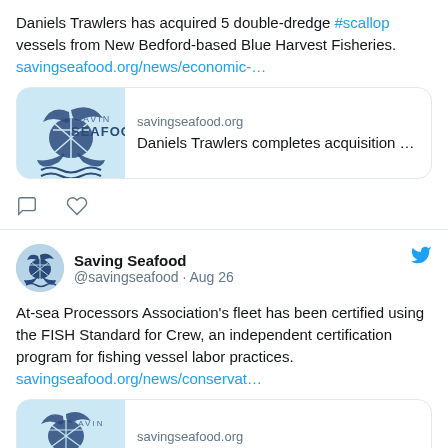Daniels Trawlers has acquired 5 double-dredge #scallop vessels from New Bedford-based Blue Harvest Fisheries. savingseafood.org/news/economic-…
[Figure (screenshot): Link preview card for savingseafood.org showing Saving Seafood logo and text 'Daniels Trawlers completes acquisition …']
[Figure (other): Tweet action buttons: comment and like icons]
Saving Seafood @savingseafood · Aug 26
At-sea Processors Association's fleet has been certified using the FISH Standard for Crew, an independent certification program for fishing vessel labor practices. savingseafood.org/news/conservat…
[Figure (screenshot): Partial link preview card for savingseafood.org showing Saving Seafood logo]